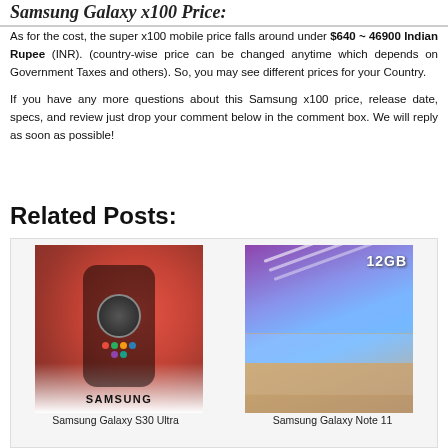Samsung Galaxy x100 Price:
As for the cost, the super x100 mobile price falls around under $640 ~ 46900 Indian Rupee (INR). (country-wise price can be changed anytime which depends on Government Taxes and others). So, you may see different prices for your Country.
If you have any more questions about this Samsung x100 price, release date, specs, and review just drop your comment below in the comment box. We will reply as soon as possible!
Related Posts:
[Figure (photo): Samsung Galaxy S30 Ultra smartphone photo showing red device with Samsung logo]
[Figure (photo): Samsung Galaxy Note 11 smartphone photo showing purple/blue gradient display with 12GB label]
Samsung Galaxy S30 Ultra
Samsung Galaxy Note 11